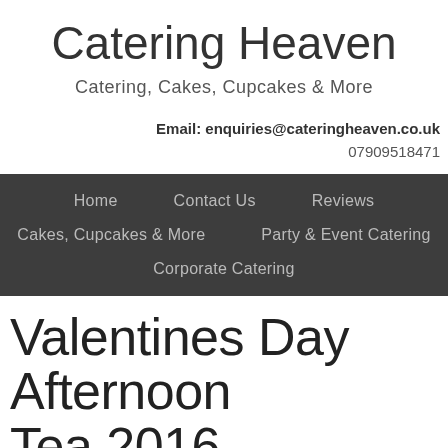Catering Heaven
Catering, Cakes, Cupcakes & More
Email: enquiries@cateringheaven.co.uk
07909518471
Home   Contact Us   Reviews
Cakes, Cupcakes & More   Party & Event Catering
Corporate Catering
Valentines Day Afternoon Tea 2016